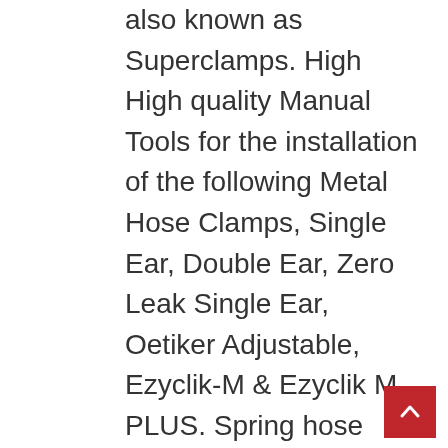also known as Superclamps. High High quality Manual Tools for the installation of the following Metal Hose Clamps, Single Ear, Double Ear, Zero Leak Single Ear, Oetiker Adjustable, Ezyclik-M & Ezyclik M PLUS. Spring hose clamps are made from a strip of spring steel, which compress to form a seal. Chief-Ling Enterprise Co., Ltd is a expert and exporter specializing in all sorts of hose clamps with reputations over 20 years of experiences in Taiwan, specifically our product brand is extremely well-known all more than the planet. The heavy duty hose clamps have a AISI 304 Stainless Steel band with a AISI 302 Cu Stainless Steel bolt. Military-grade worm gear hose clamps are manufactured from 201 stainless steel to military specifications. Th series are the